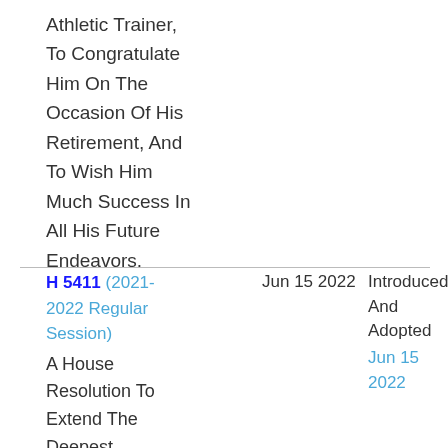Athletic Trainer, To Congratulate Him On The Occasion Of His Retirement, And To Wish Him Much Success In All His Future Endeavors.
H 5411 (2021-2022 Regular Session)
Jun 15 2022
Introduced And Adopted
Jun 15 2022
A House Resolution To Extend The Deepest Sympathy Of The Members Of The